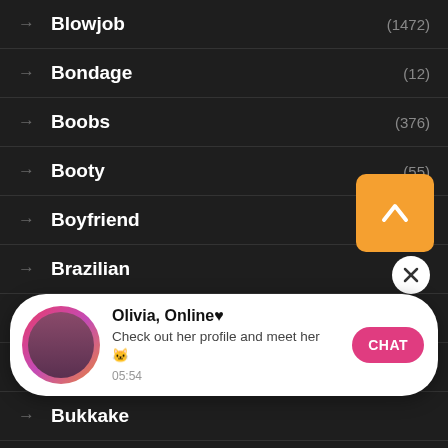Blowjob (1472)
Bondage (12)
Boobs (376)
Booty (55)
Boyfriend (183)
Brazilian (13)
British (53)
Brunette
Bukkake
Butt (26)
[Figure (screenshot): Notification popup: Olivia, Online with heart icon. Text: Check out her profile and meet her 🐱. Time: 05:54. Pink CHAT button on right. Avatar with gradient border on left.]